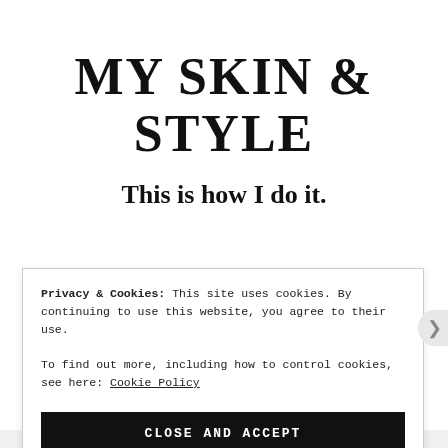MY SKIN & STYLE
This is how I do it.
Privacy & Cookies: This site uses cookies. By continuing to use this website, you agree to their use.
To find out more, including how to control cookies, see here: Cookie Policy
CLOSE AND ACCEPT